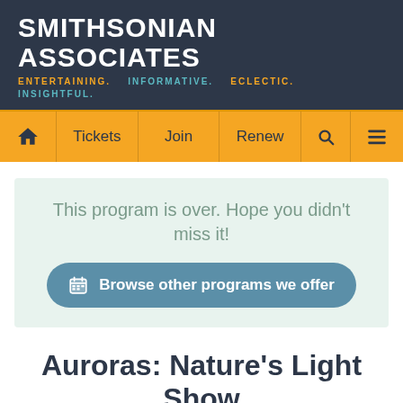SMITHSONIAN ASSOCIATES
ENTERTAINING.   INFORMATIVE.   ECLECTIC.   INSIGHTFUL.
This program is over. Hope you didn't miss it!
Browse other programs we offer
Auroras: Nature's Light Show
Evening Program
Evening Lecture/Seminar